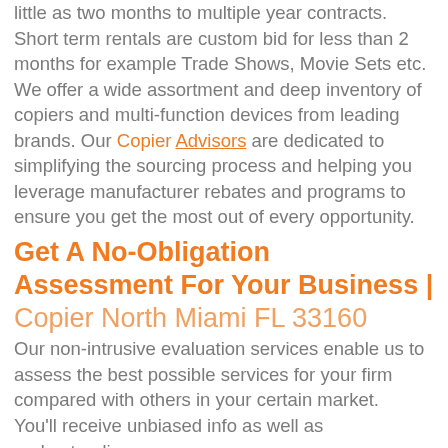little as two months to multiple year contracts. Short term rentals are custom bid for less than 2 months for example Trade Shows, Movie Sets etc. We offer a wide assortment and deep inventory of copiers and multi-function devices from leading brands. Our Copier Advisors are dedicated to simplifying the sourcing process and helping you leverage manufacturer rebates and programs to ensure you get the most out of every opportunity.
Get A No-Obligation Assessment For Your Business | Copier North Miami FL 33160
Our non-intrusive evaluation services enable us to assess the best possible services for your firm compared with others in your certain market. You'll receive unbiased info as well as understandings